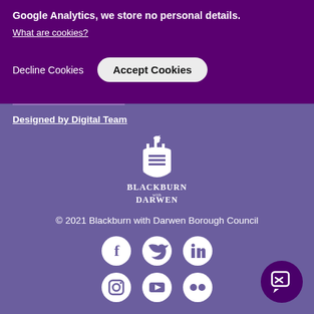Google Analytics, we store no personal details.
What are cookies?
Decline Cookies
Accept Cookies
Designed by Digital Team
[Figure (logo): Blackburn with Darwen Borough Council coat of arms logo in white]
© 2021 Blackburn with Darwen Borough Council
[Figure (other): Social media icons row 1: Facebook, Twitter, LinkedIn]
[Figure (other): Social media icons row 2: Instagram, YouTube, Flickr]
[Figure (other): Chat/support button icon in dark purple circle]